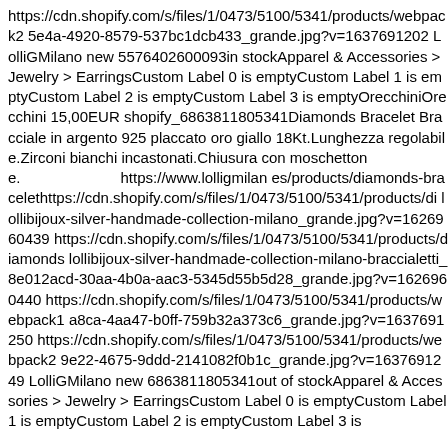https://cdn.shopify.com/s/files/1/0473/5100/5341/products/webpack2 5e4a-4920-8579-537bc1dcb433_grande.jpg?v=1637691202 LolliGMilano new 5576402600093in stockApparel & Accessories > Jewelry > EarringsCustom Label 0 is emptyCustom Label 1 is emptyCustom Label 2 is emptyCustom Label 3 is emptyOrecchiniOrecchini 15,00EUR shopify_6863811805341Diamonds Bracelet Bracciale in argento 925 placcato oro giallo 18Kt.Lunghezza regolabile.Zirconi bianchi incastonati.Chiusura con moschettone.________________________https://www.lolligmilan es/products/diamonds-bracelethttps://cdn.shopify.com/s/files/1/0473/5100/5341/products/di lollibijoux-silver-handmade-collection-milano_grande.jpg?v=1626960439 https://cdn.shopify.com/s/files/1/0473/5100/5341/products/diamonds lollibijoux-silver-handmade-collection-milano-braccialetti_8e012acd-30aa-4b0a-aac3-5345d55b5d28_grande.jpg?v=1626960440 https://cdn.shopify.com/s/files/1/0473/5100/5341/products/webpack1 a8ca-4aa47-b0ff-759b32a373c6_grande.jpg?v=1637691250 https://cdn.shopify.com/s/files/1/0473/5100/5341/products/webpack2 9e22-4675-9ddd-2141082f0b1c_grande.jpg?v=1637691249 LolliGMilano new 6863811805341out of stockApparel & Accessories > Jewelry > EarringsCustom Label 0 is emptyCustom Label 1 is emptyCustom Label 2 is emptyCustom Label 3 is